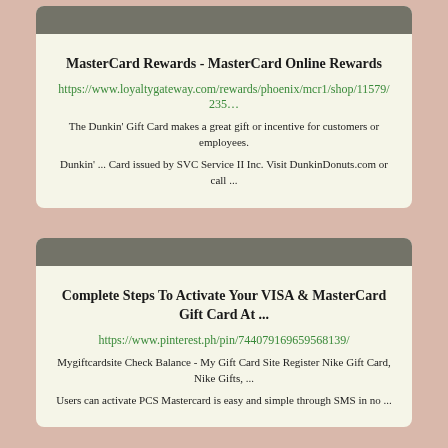MasterCard Rewards - MasterCard Online Rewards
https://www.loyaltygateway.com/rewards/phoenix/mcr1/shop/11579/235…
The Dunkin' Gift Card makes a great gift or incentive for customers or employees.
Dunkin' ... Card issued by SVC Service II Inc. Visit DunkinDonuts.com or call ...
Complete Steps To Activate Your VISA & MasterCard Gift Card At ...
https://www.pinterest.ph/pin/744079169659568139/
Mygiftcardsite Check Balance - My Gift Card Site Register Nike Gift Card, Nike Gifts, ...
Users can activate PCS Mastercard is easy and simple through SMS in no ...